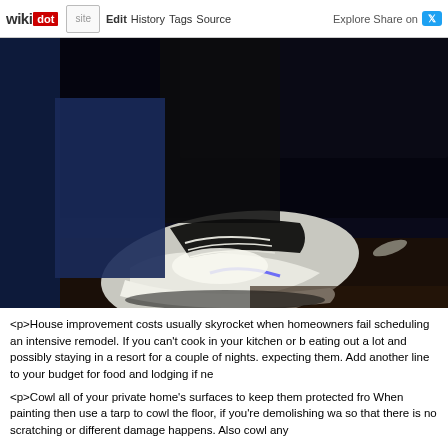wikidot | site | Edit | History | Tags | Source | Explore | Share on Twitter
[Figure (photo): Dark photo of a person's sneaker/shoe (white Nike shoe) on a dark floor, taken from a low angle in dim lighting with dark blue/black background]
<p>House improvement costs usually skyrocket when homeowners fail scheduling an intensive remodel. If you can't cook in your kitchen or b eating out a lot and possibly staying in a resort for a couple of nights. expecting them. Add another line to your budget for food and lodging if ne
<p>Cowl all of your private home's surfaces to keep them protected fro When painting then use a tarp to cowl the floor, if you're demolishing wa so that there is no scratching or different damage happens. Also cowl any